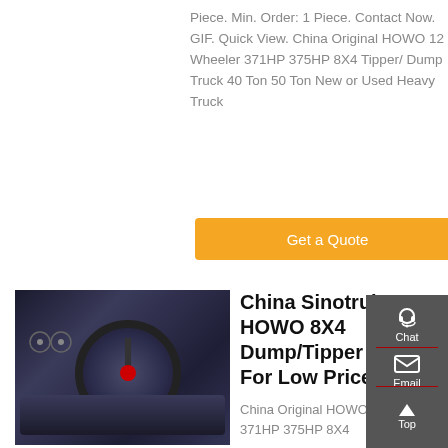Piece. Min. Order: 1 Piece. Contact Now. GIF. Quick View. China Original HOWO 12 Wheeler 371HP 375HP 8X4 Tipper/ Dump Truck 40 Ton 50 Ton New or Used Heavy Truck
Get a Quote
[Figure (photo): Interior view of a truck cab showing steering wheel and dashboard]
China Sinotruk HOWO 8X4 Dump/Tipper Truck For Low Price
China Original HOWO 12 Wheeler 371HP 375HP 8X4